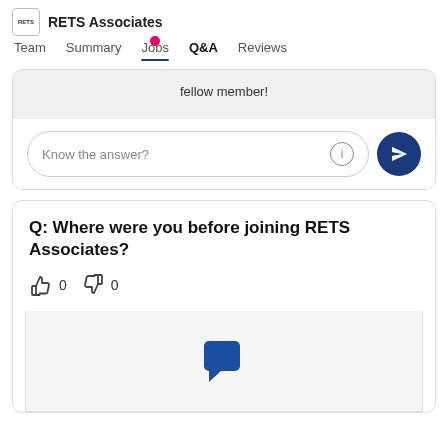RETS Associates — Team | Summary | Jobs | Q&A | Reviews
fellow member!
[Figure (screenshot): Text input field with placeholder 'Know the answer?' and an info icon, alongside a dark blue circular send button with paper plane icon]
Q: Where were you before joining RETS Associates?
0  0 (thumbs up and thumbs down vote counts)
[Figure (illustration): Blue speech/chat bubble icon on light gray background]